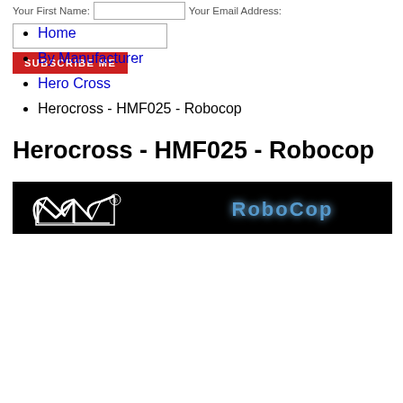Your First Name: [input] Your Email Address:
[Last Name input field]
SUBSCRIBE ME
Home
By Manufacturer
Hero Cross
Herocross - HMF025 - Robocop
Herocross - HMF025 - Robocop
[Figure (illustration): Black banner image with Hero Cross logo (stylized M/wings icon with registered trademark symbol) on the left and 'RoboCop' logo text in blue on the right]